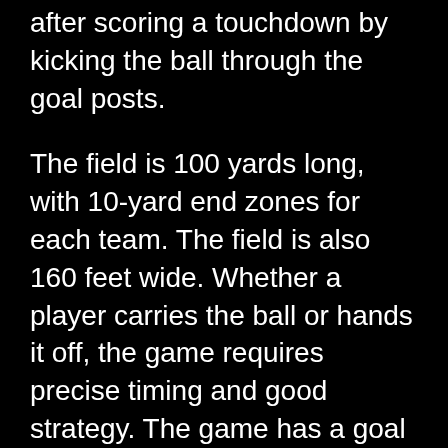after scoring a touchdown by kicking the ball through the goal posts.
The field is 100 yards long, with 10-yard end zones for each team. The field is also 160 feet wide. Whether a player carries the ball or hands it off, the game requires precise timing and good strategy. The game has a goal line where players try to reach their opponent's goal line, and yardage markers that mark the positions of the team's players on the field.
Football is the most popular sport in the world, with millions of participants and billions of